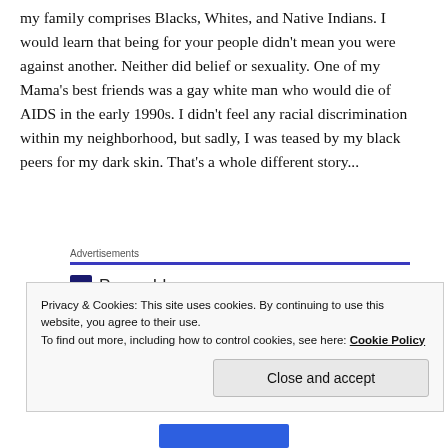my family comprises Blacks, Whites, and Native Indians. I would learn that being for your people didn't mean you were against another. Neither did belief or sexuality. One of my Mama's best friends was a gay white man who would die of AIDS in the early 1990s. I didn't feel any racial discrimination within my neighborhood, but sadly, I was teased by my black peers for my dark skin. That's a whole different story...
Advertisements
[Figure (logo): Pressable logo with P icon and Pressable text, followed by a row of dots]
The Platform
Privacy & Cookies: This site uses cookies. By continuing to use this website, you agree to their use.
To find out more, including how to control cookies, see here: Cookie Policy

Close and accept